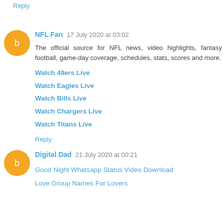Reply
NFL Fan 17 July 2020 at 03:02
The official source for NFL news, video highlights, fantasy football, game-day coverage, schedules, stats, scores and more.
Watch 49ers Live
Watch Eagles Live
Watch Bills Live
Watch Chargers Live
Watch Titans Live
Reply
Digital Dad 21 July 2020 at 00:21
Good Night Whatsapp Status Video Download
Love Group Names For Lovers